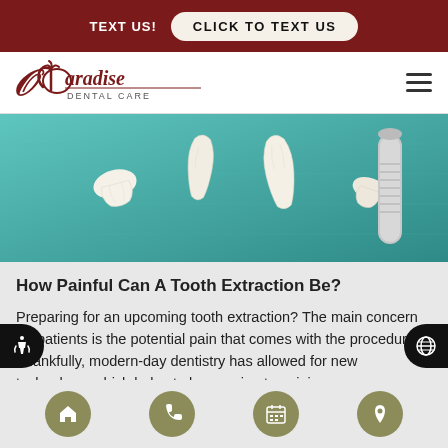TEXT US! | CLICK TO TEXT US
[Figure (logo): Paradise Dental Care logo with palm tree icon]
[Figure (photo): Extracted teeth on teal surgical drape with dental tool]
How Painful Can A Tooth Extraction Be?
Preparing for an upcoming tooth extraction? The main concern for patients is the potential pain that comes with the procedure. Thankfully, modern-day dentistry has allowed for new technology, which helps to keep pain at a minimum. Nonetheless, it is necessary to get familiar with what is involved in order to be
Home | Phone | Calendar | Location icons